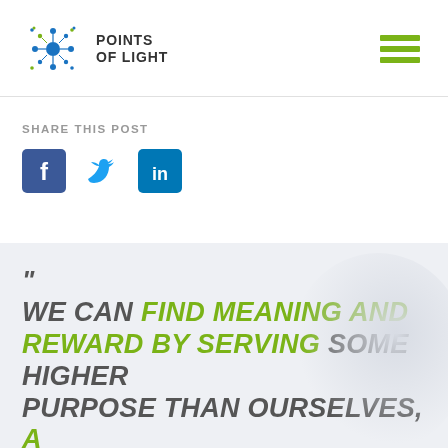[Figure (logo): Points of Light logo with star/dot graphic and bold text 'POINTS OF LIGHT']
[Figure (other): Hamburger menu icon with three green horizontal bars]
SHARE THIS POST
[Figure (other): Social media icons: Facebook (blue square), Twitter (bird), LinkedIn (blue square with 'in')]
" WE CAN FIND MEANING AND REWARD BY SERVING SOME HIGHER PURPOSE THAN OURSELVES, A